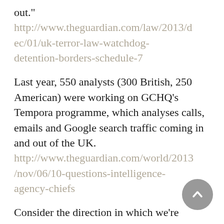out."
http://www.theguardian.com/law/2013/dec/01/uk-terror-law-watchdog-detention-borders-schedule-7
Last year, 550 analysts (300 British, 250 American) were working on GCHQ's Tempora programme, which analyses calls, emails and Google search traffic coming in and out of the UK.
http://www.theguardian.com/world/2013/nov/06/10-questions-intelligence-agency-chiefs
Consider the direction in which we're moving. Britain has more CCTV cameras